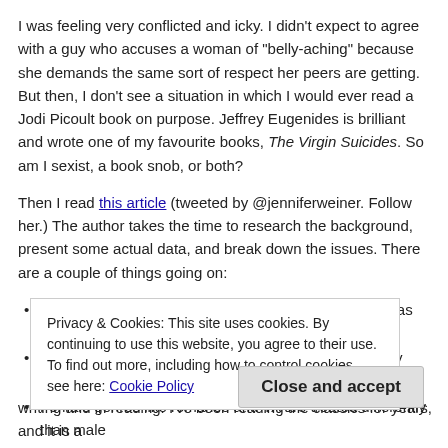I was feeling very conflicted and icky.  I didn't expect to agree with a guy who accuses a woman of "belly-aching" because she demands the same sort of respect her peers are getting. But then, I don't see a situation in which I would ever read a Jodi Picoult book on purpose. Jeffrey Eugenides is brilliant and wrote one of my favourite books, The Virgin Suicides. So am I sexist, a book snob, or both?
Then I read this article (tweeted by @jenniferweiner. Follow her.) The author takes the time to research the background, present some actual data, and break down the issues. There are a couple of things going on:
Commercial fiction is not seen as important or worthy as literary fiction
Female genre writers like Picoult are treated differently than male genre writers, like, say, Nick Hornby.
Female genres like romance and YA are treated differently than male
Privacy & Cookies: This site uses cookies. By continuing to use this website, you agree to their use.
To find out more, including how to control cookies, see here: Cookie Policy
Close and accept
writing and in reading. I've been reading the classics for years, and it is a